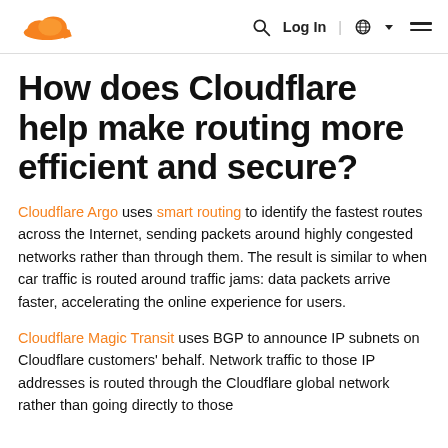Cloudflare logo | Search | Log In | Globe | Menu
How does Cloudflare help make routing more efficient and secure?
Cloudflare Argo uses smart routing to identify the fastest routes across the Internet, sending packets around highly congested networks rather than through them. The result is similar to when car traffic is routed around traffic jams: data packets arrive faster, accelerating the online experience for users.
Cloudflare Magic Transit uses BGP to announce IP subnets on Cloudflare customers' behalf. Network traffic to those IP addresses is routed through the Cloudflare global network rather than going directly to those